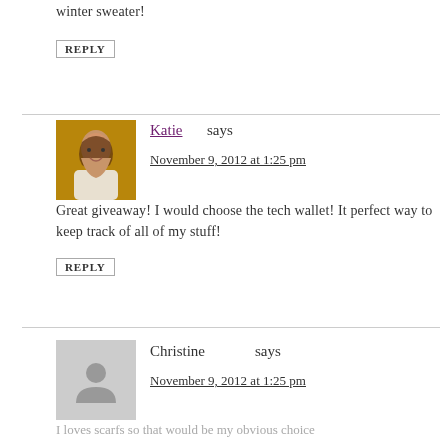winter sweater!
REPLY
Katie says
November 9, 2012 at 1:25 pm
Great giveaway! I would choose the tech wallet! It perfect way to keep track of all of my stuff!
REPLY
Christine says
November 9, 2012 at 1:25 pm
I loves scarfs so that would be my obvious choice